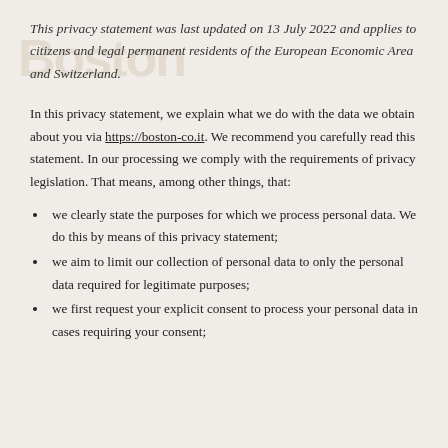This privacy statement was last updated on 13 July 2022 and applies to citizens and legal permanent residents of the European Economic Area and Switzerland.
In this privacy statement, we explain what we do with the data we obtain about you via https://boston-co.it. We recommend you carefully read this statement. In our processing we comply with the requirements of privacy legislation. That means, among other things, that:
we clearly state the purposes for which we process personal data. We do this by means of this privacy statement;
we aim to limit our collection of personal data to only the personal data required for legitimate purposes;
we first request your explicit consent to process your personal data in cases requiring your consent;